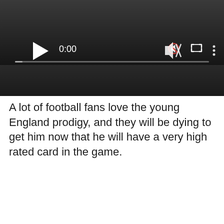[Figure (screenshot): Video player UI with dark background, play button, timestamp 0:00, muted speaker icon, fullscreen icon, and more options icon, with a progress bar at the bottom]
A lot of football fans love the young England prodigy, and they will be dying to get him now that he will have a very high rated card in the game.